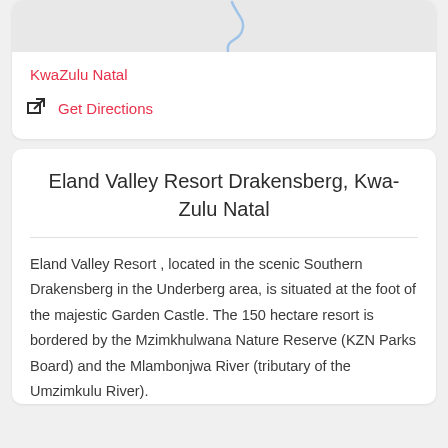[Figure (map): Partial map image showing a geographic outline shape in light blue on a grey background]
KwaZulu Natal
Get Directions
Eland Valley Resort Drakensberg, Kwa-Zulu Natal
Eland Valley Resort , located in the scenic Southern Drakensberg in the Underberg area, is situated at the foot of the majestic Garden Castle. The 150 hectare resort is bordered by the Mzimkhulwana Nature Reserve (KZN Parks Board) and the Mlambonjwa River (tributary of the Umzimkulu River).